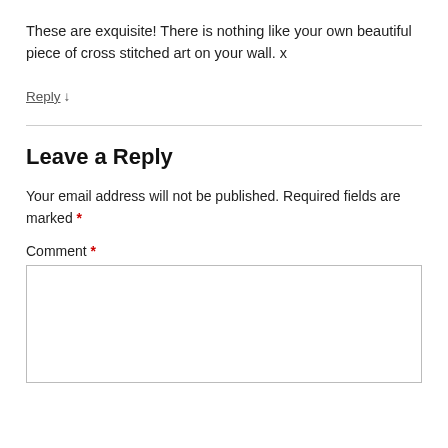These are exquisite! There is nothing like your own beautiful piece of cross stitched art on your wall. x
Reply ↓
Leave a Reply
Your email address will not be published. Required fields are marked *
Comment *